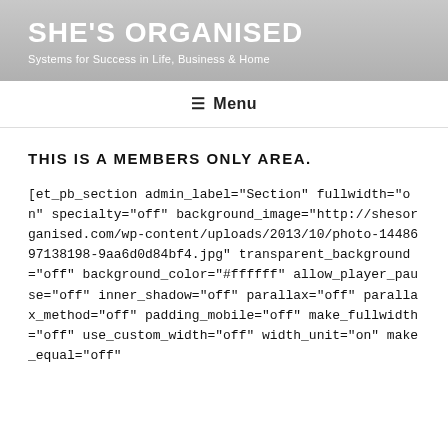SHE'S ORGANISED
Systems for Success in Life, Business & Home
≡ Menu
THIS IS A MEMBERS ONLY AREA.
[et_pb_section admin_label="Section" fullwidth="on" specialty="off" background_image="http://shesorganised.com/wp-content/uploads/2013/10/photo-1448697138198-9aa6d0d84bf4.jpg" transparent_background="off" background_color="#ffffff" allow_player_pause="off" inner_shadow="off" parallax="off" parallax_method="off" padding_mobile="off" make_fullwidth="off" use_custom_width="off" width_unit="on" make_equal="off"